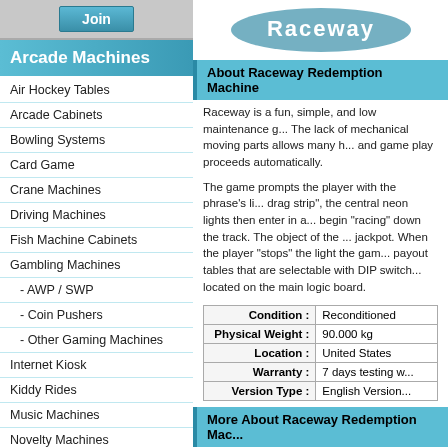Arcade Machines
Air Hockey Tables
Arcade Cabinets
Bowling Systems
Card Game
Crane Machines
Driving Machines
Fish Machine Cabinets
Gambling Machines
- AWP / SWP
- Coin Pushers
- Other Gaming Machines
Internet Kiosk
Kiddy Rides
Music Machines
Novelty Machines
Other Products
Photo / Sticker Machines
Pinball Machines
Self Redemption Machines
Shooting Games
Simulators
Sports Games
About Raceway Redemption Machine
Raceway is a fun, simple, and low maintenance game. The lack of mechanical moving parts allows many hours of play and game play proceeds automatically.
The game prompts the player with the phrase's li... drag strip", the central neon lights then enter in a... begin "racing" down the track. The object of the ... jackpot. When the player "stops" the light the game... payout tables that are selectable with DIP switch... located on the main logic board.
| Condition : | Reconditioned |
| --- | --- |
| Physical Weight : | 90.000 kg |
| Location : | United States |
| Warranty : | 7 days testing w... |
| Version Type : | English Version... |
More About Raceway Redemption Mac...
GAME SET UP
There are multiple options available in Raceway t... leaves our factory set up and ready to play. All o...